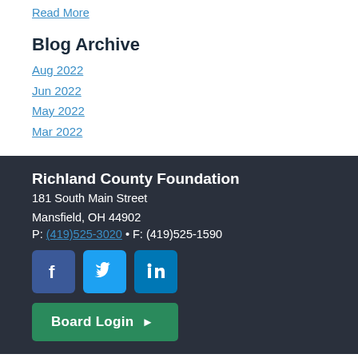Read More
Blog Archive
Aug 2022
Jun 2022
May 2022
Mar 2022
Richland County Foundation
181 South Main Street
Mansfield, OH 44902
P: (419)525-3020 • F: (419)525-1590
[Figure (infographic): Social media icons for Facebook, Twitter, and LinkedIn]
Board Login ▶